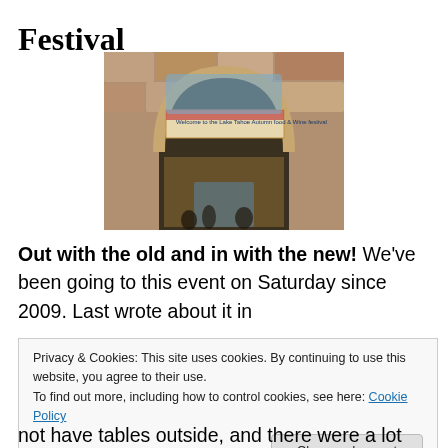Festival
[Figure (photo): Entrance to a stone-arch building with a banner reading 'Welcome to the Lake Tahoe Autumn Food & Wine Festival']
Out with the old and in with the new! We've been going to this event on Saturday since 2009. Last wrote about it in
Privacy & Cookies: This site uses cookies. By continuing to use this website, you agree to their use. To find out more, including how to control cookies, see here: Cookie Policy
Close and accept
not have tables outside, and there were a lot less of our 4-